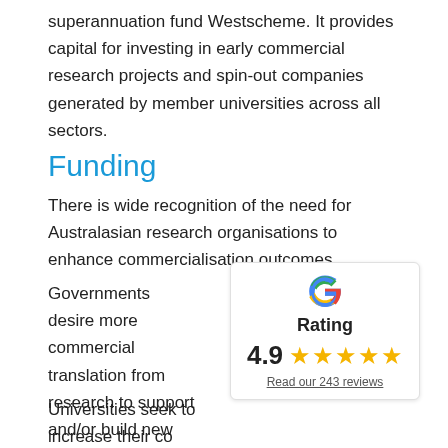superannuation fund Westscheme. It provides capital for investing in early commercial research projects and spin-out companies generated by member universities across all sectors.
Funding
There is wide recognition of the need for Australasian research organisations to enhance commercialisation outcomes.
Governments desire more commercial translation from research to support and/or build new industri national economic growth and prov betterment of society.
[Figure (infographic): Google 'G' logo with Rating label, score 4.9, five gold stars, and 'Read our 243 reviews' link]
Universities seek to increase their co competitive in attracting skilled researchers, provide a